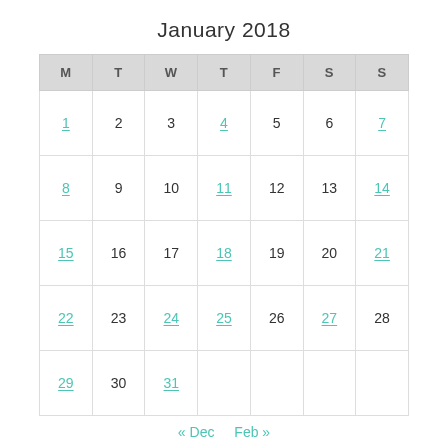January 2018
| M | T | W | T | F | S | S |
| --- | --- | --- | --- | --- | --- | --- |
| 1 | 2 | 3 | 4 | 5 | 6 | 7 |
| 8 | 9 | 10 | 11 | 12 | 13 | 14 |
| 15 | 16 | 17 | 18 | 19 | 20 | 21 |
| 22 | 23 | 24 | 25 | 26 | 27 | 28 |
| 29 | 30 | 31 |  |  |  |  |
« Dec   Feb »
SUBSCRIBE TO NOMAD ONLINE VIA EMAIL
Enter your email address to receive notifications of new posts straight to your inbox.